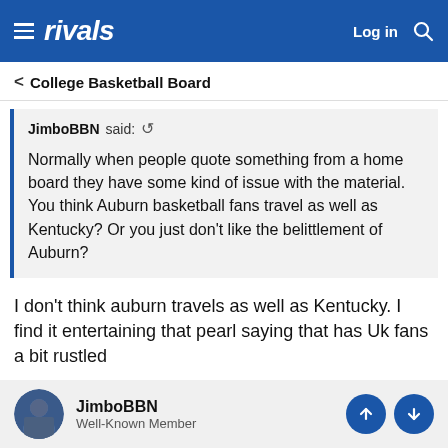rivals — Log in
< College Basketball Board
JimboBBN said: ↺

Normally when people quote something from a home board they have some kind of issue with the material. You think Auburn basketball fans travel as well as Kentucky? Or you just don't like the belittlement of Auburn?
I don't think auburn travels as well as Kentucky. I find it entertaining that pearl saying that has Uk fans a bit rustled
JimboBBN — Well-Known Member